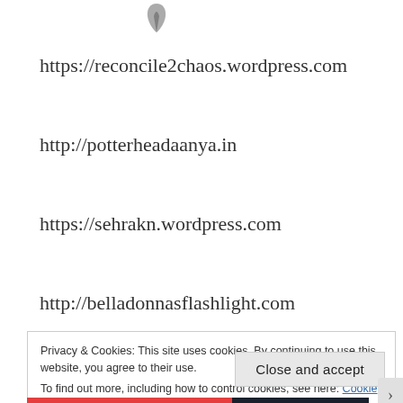[Figure (logo): Small dark leaf/feather logo icon at top center]
https://reconcile2chaos.wordpress.com
http://potterheadaanya.in
https://sehrakn.wordpress.com
http://belladonnasflashlight.com
Privacy & Cookies: This site uses cookies. By continuing to use this website, you agree to their use.
To find out more, including how to control cookies, see here: Cookie Policy
Close and accept